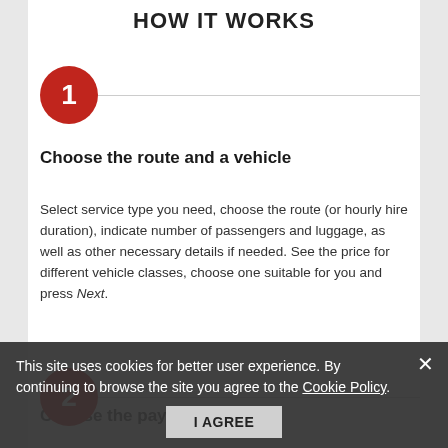HOW IT WORKS
1 — Choose the route and a vehicle
Select service type you need, choose the route (or hourly hire duration), indicate number of passengers and luggage, as well as other necessary details if needed. See the price for different vehicle classes, choose one suitable for you and press Next.
2 — Choose the payment method
Complete the booking form, choose the payment method, press Make Booking button, make online prepayment (if needed), get email confirmation. When a driver will be assigned to your job, his phone number will be sent to you by SMS and email.
This site uses cookies for better user experience. By continuing to browse the site you agree to the Cookie Policy.